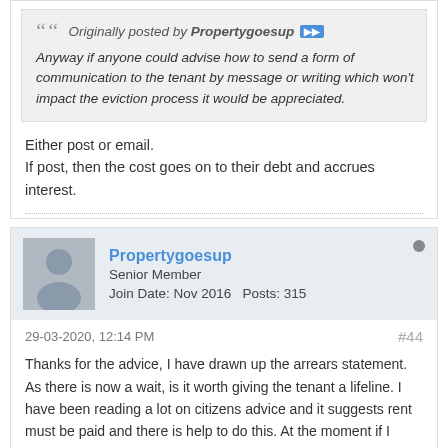Originally posted by Propertygoesup
Anyway if anyone could advise how to send a form of communication to the tenant by message or writing which won't impact the eviction process it would be appreciated.
Either post or email.
If post, then the cost goes on to their debt and accrues interest.
Propertygoesup
Senior Member
Join Date: Nov 2016   Posts: 315
29-03-2020, 12:14 PM
#44
Thanks for the advice, I have drawn up the arrears statement. As there is now a wait, is it worth giving the tenant a lifeline. I have been reading a lot on citizens advice and it suggests rent must be paid and there is help to do this. At the moment if I proceed I am probably going to get her out in the summer but with arrears of circa £8000 plus court costs.
I do not believe she has very much to offer, no assets apart from a